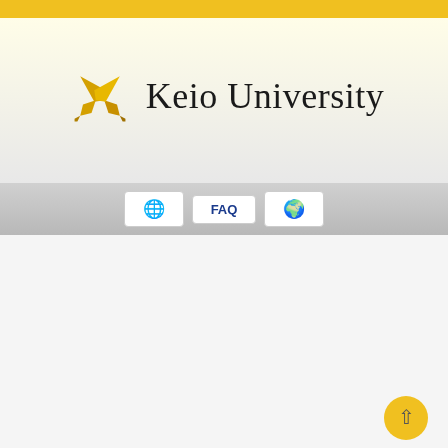[Figure (logo): Keio University logo with crossed pen nibs in gold and the text 'Keio University' in serif font]
FAQ navigation bar with globe icons and FAQ link
Thermal bilateral control with scaled thermal information using peltier device
Hidetaka Morimitsu, Seiichiro Katsura